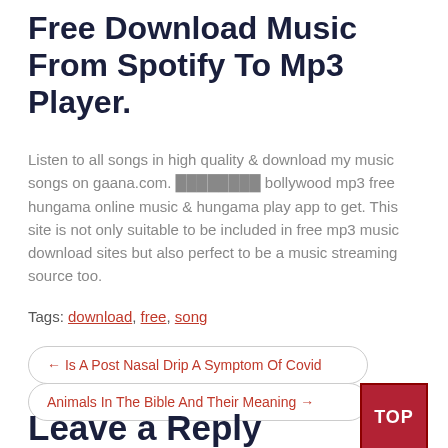Free Download Music From Spotify To Mp3 Player.
Listen to all songs in high quality & download my music songs on gaana.com. ████████ bollywood mp3 free hungama online music & hungama play app to get. This site is not only suitable to be included in free mp3 music download sites but also perfect to be a music streaming source too.
Tags: download, free, song
← Is A Post Nasal Drip A Symptom Of Covid
Animals In The Bible And Their Meaning →
Leave a Reply